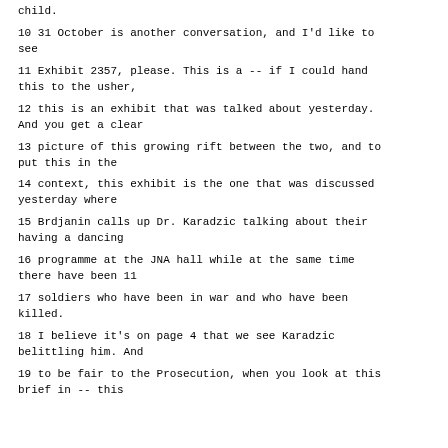child.
10 31 October is another conversation, and I'd like to see
11 Exhibit 2357, please. This is a -- if I could hand this to the usher,
12 this is an exhibit that was talked about yesterday. And you get a clear
13 picture of this growing rift between the two, and to put this in the
14 context, this exhibit is the one that was discussed yesterday where
15 Brdjanin calls up Dr. Karadzic talking about their having a dancing
16 programme at the JNA hall while at the same time there have been 11
17 soldiers who have been in war and who have been killed.
18 I believe it's on page 4 that we see Karadzic belittling him. And
19 to be fair to the Prosecution, when you look at this brief in -- this